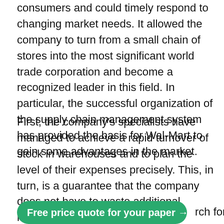consumers and could timely respond to changing market needs. It allowed the company to turn from a small chain of stores into the most significant world trade corporation and become a recognized leader in this field. In particular, the successful organization of the supply chain management system has provided the basis for Wal-Mart to gain some advantages in the market.
First, the company's specialists have managed to achieve a rapid turnover of stock in warehouses and to plan the level of their expenses precisely. This, in turn, is a guarantee that the company does not have to waste additional money on the disposal of expired goods. All products are sold on time, and consumers cannot purchase goods with expired shelf life. Secondly, the introduction of such IT technologies as barcodes and radiofrequency search made it possible to track the dynamics of goods distribution and reduce the cost of search for goods in
Free price quote for your paper →